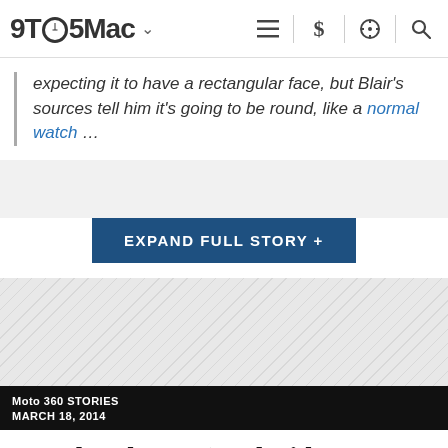9TO5Mac
expecting it to have a rectangular face, but Blair's sources tell him it's going to be round, like a normal watch …
EXPAND FULL STORY +
[Figure (other): Gray hatched advertisement/placeholder area]
Moto 360 STORIES
MARCH 18, 2014
Google releases ‘Android Wear’ SDK developer preview, watches from LG, Moto & others due next quarter
Jordan Kahn · Mar 19th 2014 9:22 am PT  @JordanKahn